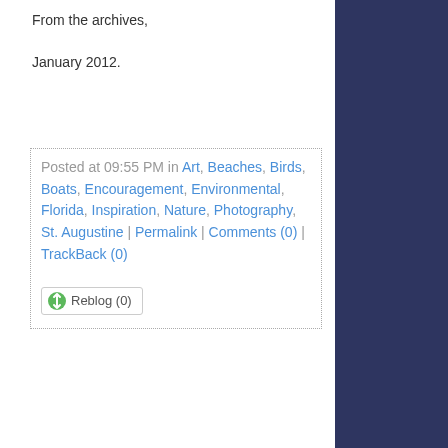From the archives,
January 2012.
Posted at 09:55 PM in Art, Beaches, Birds, Boats, Encouragement, Environmental, Florida, Inspiration, Nature, Photography, St. Augustine | Permalink | Comments (0) | TrackBack (0)
Reblog (0)
Tweet
Rising In The Rigging
[Figure (photo): Partial view of a photo showing rigging/mast of a boat against a light sky background]